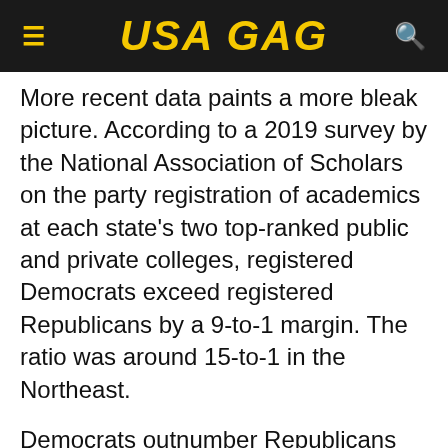USA GAG
More recent data paints a more bleak picture. According to a 2019 survey by the National Association of Scholars on the party registration of academics at each state's two top-ranked public and private colleges, registered Democrats exceed registered Republicans by a 9-to-1 margin. The ratio was around 15-to-1 in the Northeast.
Democrats outnumber Republicans "just" 3-to-1 in the most equally split field, economics. Mathematics, the second most evenly distributed field, has a 6-to-1 ratio. In comparison, the ratios in English and sociology are roughly 27-to-1. It's a startling 42-to-1 in anthropology.Higher education became substantially more costly and bureaucratized during the Ignored Years. The inflation-adjusted cost of